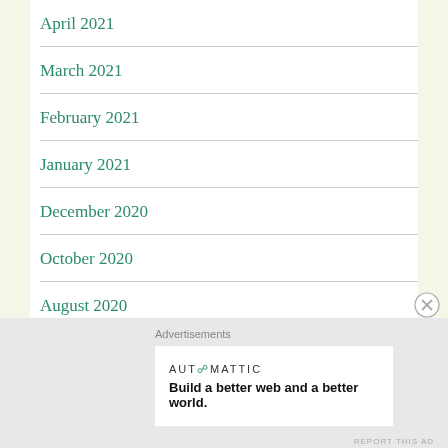April 2021
March 2021
February 2021
January 2021
December 2020
October 2020
August 2020
June 2020
Advertisements
[Figure (logo): Automattic logo with tagline: Build a better web and a better world.]